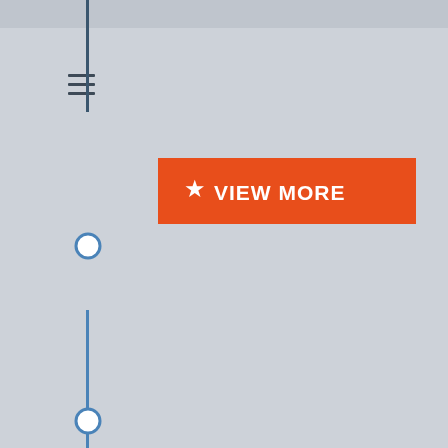[Figure (infographic): UI screenshot showing a hamburger menu icon on the left, a vertical timeline line with circular node markers, and an orange 'VIEW MORE' button with a star icon in the center-right area. The background is light gray. The timeline runs vertically with a dark navy/blue line and open circle markers.]